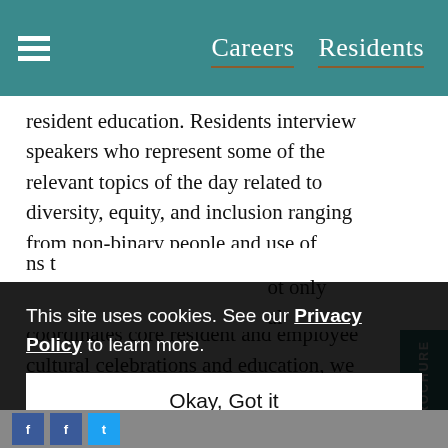Careers   Residents
resident education. Residents interview speakers who represent some of the relevant topics of the day related to diversity, equity, and inclusion ranging from non-binary people and use of pronouns to Juneteenth history. Through our tradition's council which coordinates core resident and employee cultural celebrations and education, we work actively to celebrate diversity within our community. This has created a means for residents and employees to join in recognition of each other. The road ahead is to ensure that diversity and inclusion is not just ... not only ... al
This site uses cookies. See our Privacy Policy to learn more.
Okay, Got it